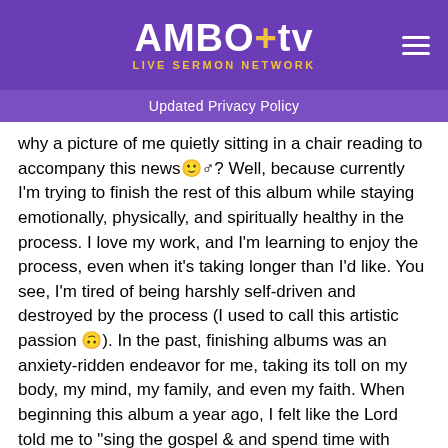AMBO tv LIVE SERMON NETWORK
Updated Privacy Policy
why a picture of me quietly sitting in a chair reading to accompany this news🙂♂? Well, because currently I'm trying to finish the rest of this album while staying emotionally, physically, and spiritually healthy in the process. I love my work, and I'm learning to enjoy the process, even when it's taking longer than I'd like. You see, I'm tired of being harshly self-driven and destroyed by the process (I used to call this artistic passion 🙃). In the past, finishing albums was an anxiety-ridden endeavor for me, taking its toll on my body, my mind, my family, and even my faith. When beginning this album a year ago, I felt like the Lord told me to "sing the gospel & and spend time with Him". So, I've been reading, praying, taking long walks and drives around Indiana, and listening. At times, choosing soul work rather than deadlines. These new songs come out of that place of rest. And, for the first time I'm almost done with an album while having my body, mind, soul, and spirit intact. It's a new day. 🙏🏾. 🙌 @ellegarrels
view all 396 comments